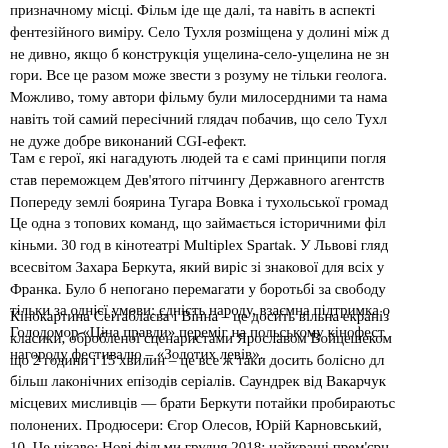призначному місці. Фільм іде ще далі, та навіть в аспекті фентезійного виміру. Село Тухля розміщена у долині між д не дивно, якщо б конструкція ущелина-село-ущелина не зн гори. Все це разом може звести з розуму не тільки геолога. Можливо, тому автори фільму були милосердними та нама навіть той самий пересічний глядач побачив, що село Тухл не дуже добре виконаний CGI-ефект.
Там є герої, які нагадують людей та є самі принципи погля став переможцем Дев'ятого пітчингу Державного агентств Попереду землі боярина Тугара Вовка і тухольської громад Це одна з топових команд, що займається історичними філ кіньми. 30 год в кінотеатрі Multiplex Spartak. У Львові гляд всесвітом Захара Беркута, який виріс зі знакової для всіх у Франка. Було б непогано перемагати у боротьбі за свободу тільки за однієї умови: єдність народу, взаємна підтримка о Голодомор «Ціна правди» переміг на польському кінофест нагороду фестивалю – «Золотих левів».
Кінокартина Сеітаблаєва і Вінна – це досить вільна екраніз класики, обробленої сценаристами Ярославом Войцешеком що 2 години і 15 хвилин – це все ж таки досить болісно дл більш лаконічних епізодів серіалів. Саундрек від Вакарчук місцевих мисливців — брати Беркути потайки пробираютьс полонених. Продюсери: Єгор Олесов, Юрій Карновський, 10. Це цікаво: Нові фільми грудня 2018: найкращі прем'єрн